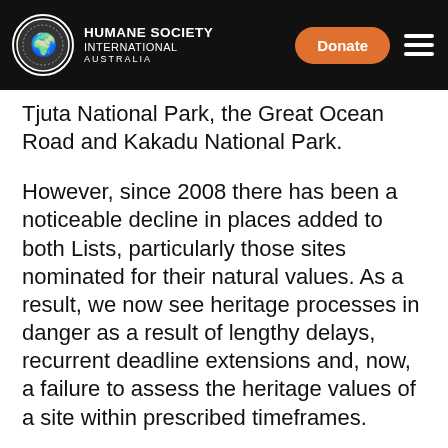Humane Society International Australia — Donate
Tjuta National Park, the Great Ocean Road and Kakadu National Park.
However, since 2008 there has been a noticeable decline in places added to both Lists, particularly those sites nominated for their natural values. As a result, we now see heritage processes in danger as a result of lengthy delays, recurrent deadline extensions and, now, a failure to assess the heritage values of a site within prescribed timeframes.